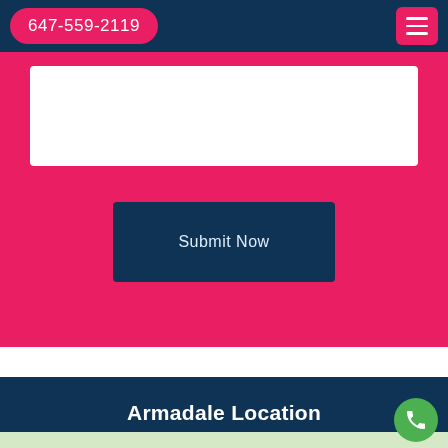647-559-2119
[Figure (screenshot): A white text input box on a pink/magenta background as part of a web form]
Submit Now
Armadale Location
[Figure (map): Street map showing Armadale location with road grid and a river/creek visible]